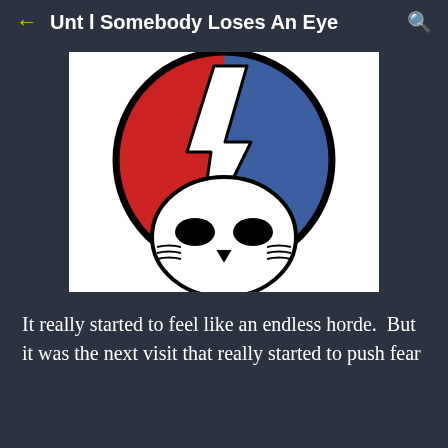Unt l Somebody Loses An Eye
[Figure (logo): Grateful Dead 'Steal Your Face' logo: a white skull with black eye sockets over a circle split diagonally with red on the left and blue on the right, with a white lightning bolt in the center.]
It really started to feel like an endless horde.  But it was the next visit that really started to push fear